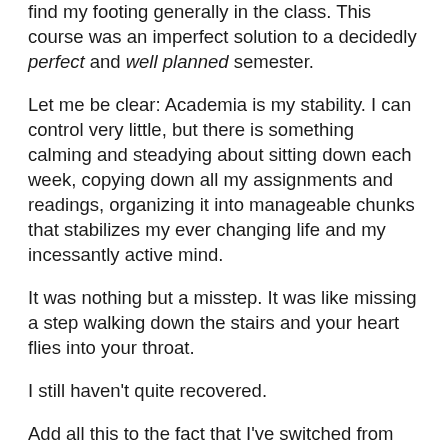find my footing generally in the class. This course was an imperfect solution to a decidedly perfect and well planned semester.
Let me be clear: Academia is my stability. I can control very little, but there is something calming and steadying about sitting down each week, copying down all my assignments and readings, organizing it into manageable chunks that stabilizes my ever changing life and my incessantly active mind.
It was nothing but a misstep. It was like missing a step walking down the stairs and your heart flies into your throat.
I still haven't quite recovered.
Add all this to the fact that I've switched from working on the William and Mary Quarterly to OI books this semester, where the chapters are long and the turn around are short; that I've had 800 page texts for the last two weeks; and I'm attempting